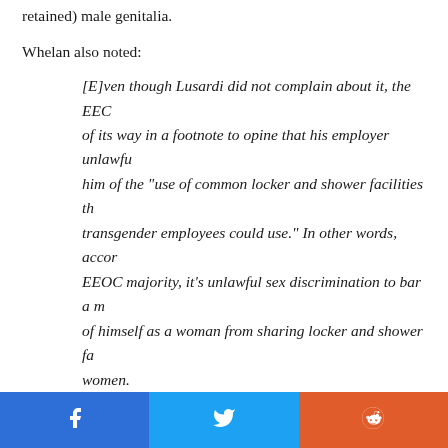retained) male genitalia.
Whelan also noted:
[E]ven though Lusardi did not complain about it, the EEOC went out of its way in a footnote to opine that his employer unlawfully deprived him of the "use of common locker and shower facilities that other transgender employees could use." In other words, according to the EEOC majority, it's unlawful sex discrimination to bar a man who thinks of himself as a woman from sharing locker and shower facilities with women.
Feldblum has little more use for religious freedom than she does for anything that stands in the way of her radical LGBT agenda. She told NRO's M when religious liberty and sexual liberty conflict, "I'm having a h with any case in which religious liberty should win." (Later in the said "in almost all cases the sexual liberty should win because tha